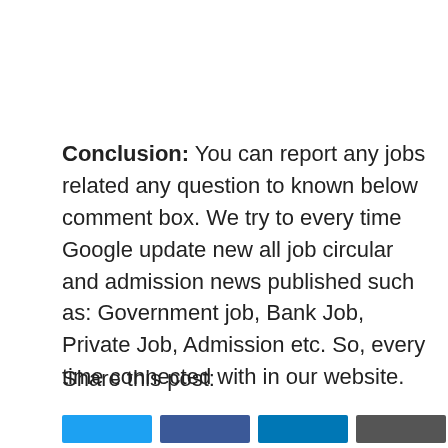Conclusion: You can report any jobs related any question to known below comment box. We try to every time Google update new all job circular and admission news published such as: Government job, Bank Job, Private Job, Admission etc. So, every time connected with in our website.
Share this post: